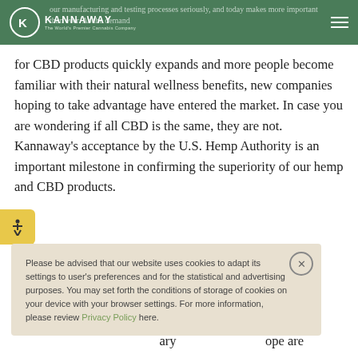KANNAWAY – The World's Premier Cannabis Company
our manufacturing and testing processes seriously, and today makes more important than ever. As the demand for CBD products quickly expands and more people become familiar with their natural wellness benefits, new companies hoping to take advantage have entered the market. In case you are wondering if all CBD is the same, they are not. Kannaway's acceptance by the U.S. Hemp Authority is an important milestone in confirming the superiority of our hemp and CBD products.
Please be advised that our website uses cookies to adapt its settings to user's preferences and for the statistical and advertising purposes. You may set forth the conditions of storage of cookies on your device with your browser settings. For more information, please review Privacy Policy here.
ary ope are